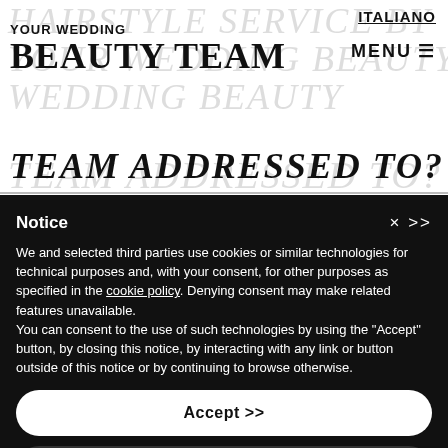YOUR WEDDING BEAUTY TEAM
ITALIANO | MENU
TEAM ADDRESSED TO?
Notice
We and selected third parties use cookies or similar technologies for technical purposes and, with your consent, for other purposes as specified in the cookie policy. Denying consent may make related features unavailable.
You can consent to the use of such technologies by using the "Accept" button, by closing this notice, by interacting with any link or button outside of this notice or by continuing to browse otherwise.
Accept >>
Learn more and customize >>